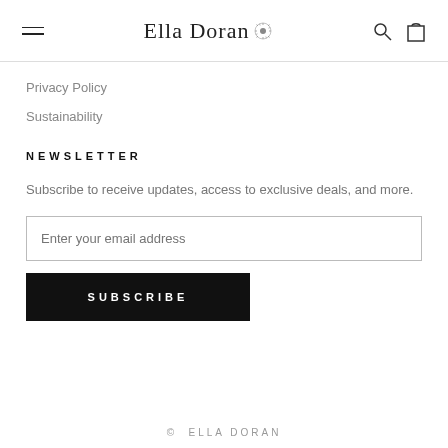Ella Doran
Privacy Policy
Sustainability
NEWSLETTER
Subscribe to receive updates, access to exclusive deals, and more.
Enter your email address
SUBSCRIBE
© ELLA DORAN